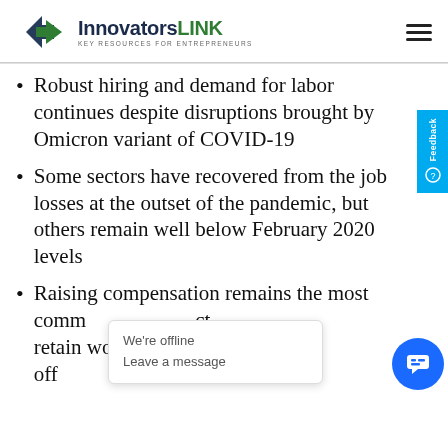InnovatorsLINK - KEY RESOURCES FOR ENTREPRENEURS
Robust hiring and demand for labor continues despite disruptions brought by Omicron variant of COVID-19
Some sectors have recovered from the job losses at the outset of the pandemic, but others remain well below February 2020 levels
Raising compensation remains the most comm... ct and retain wor... pe... off